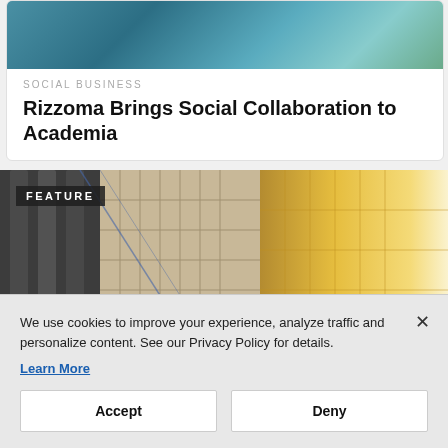[Figure (photo): Top portion of a building photo card showing glass skyscrapers in blue and green tones]
SOCIAL BUSINESS
Rizzoma Brings Social Collaboration to Academia
[Figure (photo): Feature image showing classical stone columns and modern glass skyscrapers with warm golden sunlight, with a FEATURE badge overlay]
We use cookies to improve your experience, analyze traffic and personalize content. See our Privacy Policy for details.
Learn More
Accept
Deny